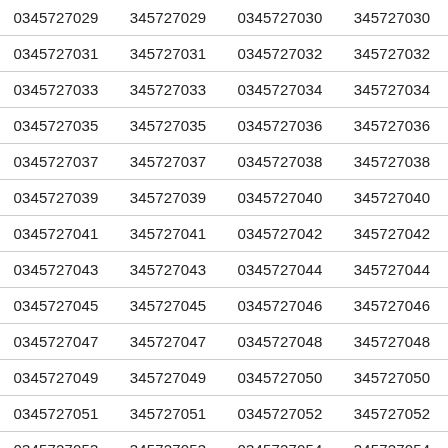| 0345727029 | 345727029 | 0345727030 | 345727030 |
| 0345727031 | 345727031 | 0345727032 | 345727032 |
| 0345727033 | 345727033 | 0345727034 | 345727034 |
| 0345727035 | 345727035 | 0345727036 | 345727036 |
| 0345727037 | 345727037 | 0345727038 | 345727038 |
| 0345727039 | 345727039 | 0345727040 | 345727040 |
| 0345727041 | 345727041 | 0345727042 | 345727042 |
| 0345727043 | 345727043 | 0345727044 | 345727044 |
| 0345727045 | 345727045 | 0345727046 | 345727046 |
| 0345727047 | 345727047 | 0345727048 | 345727048 |
| 0345727049 | 345727049 | 0345727050 | 345727050 |
| 0345727051 | 345727051 | 0345727052 | 345727052 |
| 0345727053 | 345727053 | 0345727054 | 345727054 |